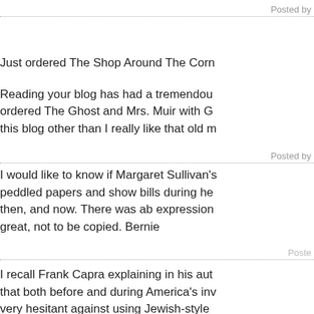Posted by
Just ordered The Shop Around The Corn
Reading your blog has had a tremendou… ordered The Ghost and Mrs. Muir with G… this blog other than I really like that old m…
Posted by
I would like to know if Margaret Sullivan's peddled papers and show bills during he… then, and now. There was ab expression great, not to be copied. Bernie
Poste…
I recall Frank Capra explaining in his aut… that both before and during America's inv… very hesitant against using Jewish-style… character was of the Hebrew faith becau… propaganda machine any ammunition wi…